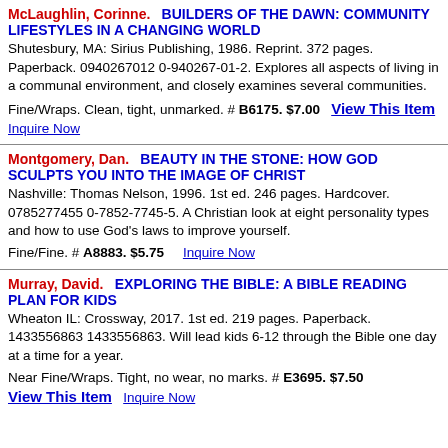McLaughlin, Corinne. BUILDERS OF THE DAWN: COMMUNITY LIFESTYLES IN A CHANGING WORLD
Shutesbury, MA: Sirius Publishing, 1986. Reprint. 372 pages. Paperback. 0940267012 0-940267-01-2. Explores all aspects of living in a communal environment, and closely examines several communities.
Fine/Wraps. Clean, tight, unmarked. # B6175. $7.00  View This Item  Inquire Now
Montgomery, Dan. BEAUTY IN THE STONE: HOW GOD SCULPTS YOU INTO THE IMAGE OF CHRIST
Nashville: Thomas Nelson, 1996. 1st ed. 246 pages. Hardcover. 0785277455 0-7852-7745-5. A Christian look at eight personality types and how to use God's laws to improve yourself.
Fine/Fine. # A8883. $5.75  Inquire Now
Murray, David. EXPLORING THE BIBLE: A BIBLE READING PLAN FOR KIDS
Wheaton IL: Crossway, 2017. 1st ed. 219 pages. Paperback. 1433556863 1433556863. Will lead kids 6-12 through the Bible one day at a time for a year.
Near Fine/Wraps. Tight, no wear, no marks. # E3695. $7.50  View This Item  Inquire Now